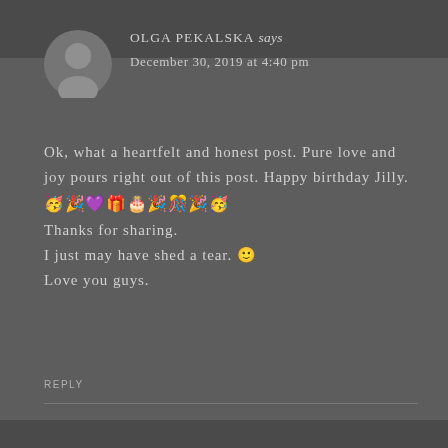OLGA PEKALSKA says
December 30, 2019 at 4:40 pm
Ok, what a heartfelt and honest post. Pure love and joy pours right out of this post. Happy birthday Jilly. 🥳🎉💜🎁🎂🎉🎊🎉🥳
Thanks for sharing.
I just may have shed a tear. 🙂
Love you guys.
REPLY